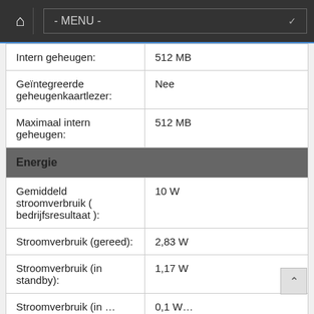- MENU -
| Intern geheugen: | 512 MB |
| Geïntegreerde geheugenkaartlezer: | Nee |
| Maximaal intern geheugen: | 512 MB |
| Energie |  |
| Gemiddeld stroomverbruik ( bedrijfsresultaat ): | 10 W |
| Stroomverbruik (gereed): | 2,83 W |
| Stroomverbruik (in standby): | 1,17 W |
| Stroomverbruik (in … | 0,1 W… |